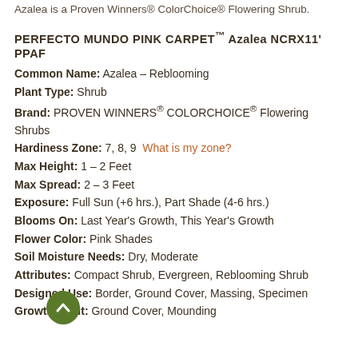Azalea is a Proven Winners® ColorChoice® Flowering Shrub.
PERFECTO MUNDO PINK CARPET™ Azalea NCRX11' PPAF
Common Name: Azalea – Reblooming
Plant Type: Shrub
Brand: PROVEN WINNERS® COLORCHOICE® Flowering Shrubs
Hardiness Zone: 7, 8, 9  What is my zone?
Max Height: 1 – 2 Feet
Max Spread: 2 – 3 Feet
Exposure: Full Sun (+6 hrs.), Part Shade (4-6 hrs.)
Blooms On: Last Year's Growth, This Year's Growth
Flower Color: Pink Shades
Soil Moisture Needs: Dry, Moderate
Attributes: Compact Shrub, Evergreen, Reblooming Shrub
Designed Use: Border, Ground Cover, Massing, Specimen
Growth Habit: Ground Cover, Mounding